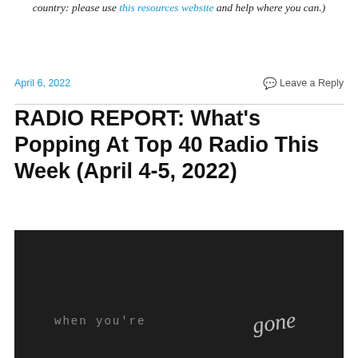country: please use this resources website and help where you can.)
April 6, 2022   Leave a Reply
RADIO REPORT: What's Popping At Top 40 Radio This Week (April 4-5, 2022)
[Figure (photo): Dark background image with monospace text reading 'when you're' and cursive/script text reading 'gone']